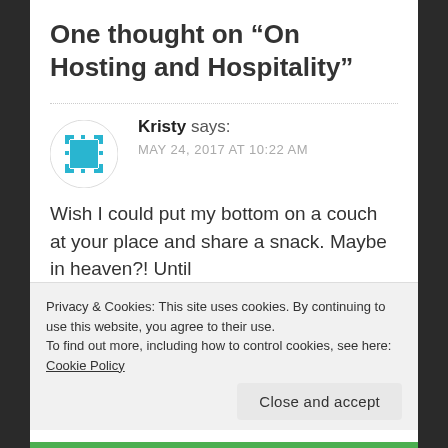One thought on “On Hosting and Hospitality”
[Figure (illustration): Pixel-art style avatar icon in teal/blue colors showing a square with dot border pattern on a white circle background]
Kristy says:
MAY 24, 2017 AT 10:22 AM
Wish I could put my bottom on a couch at your place and share a snack. Maybe in heaven?! Until
Privacy & Cookies: This site uses cookies. By continuing to use this website, you agree to their use.
To find out more, including how to control cookies, see here: Cookie Policy